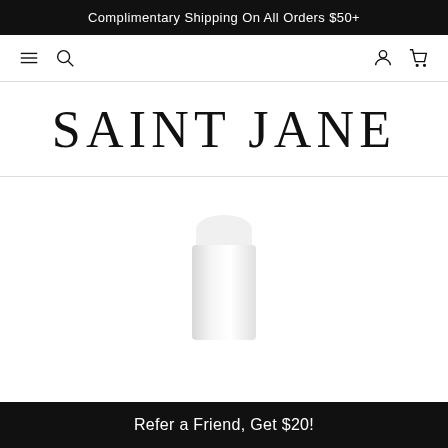Complimentary Shipping On All Orders $50+
[Figure (screenshot): Website navigation bar with hamburger menu, search icon on left; user account and cart icons on right]
[Figure (logo): SAINT JANE brand logo in large serif uppercase letters]
[Figure (photo): White cylindrical product bottle with rounded cap, partially visible, on white background]
Refer a Friend, Get $20!